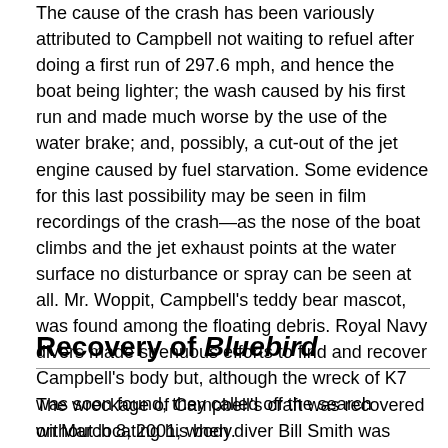The cause of the crash has been variously attributed to Campbell not waiting to refuel after doing a first run of 297.6 mph, and hence the boat being lighter; the wash caused by his first run and made much worse by the use of the water brake; and, possibly, a cut-out of the jet engine caused by fuel starvation. Some evidence for this last possibility may be seen in film recordings of the crash—as the nose of the boat climbs and the jet exhaust points at the water surface no disturbance or spray can be seen at all. Mr. Woppit, Campbell's teddy bear mascot, was found among the floating debris. Royal Navy divers made strenuous efforts to find and recover Campbell's body but, although the wreck of K7 was soon found, they called off the search without locating his body.
Recovery of Bluebird
The wreckage of Campbell's craft was recovered on March 8, 2001, when diver Bill Smith was inspired to look for the ...